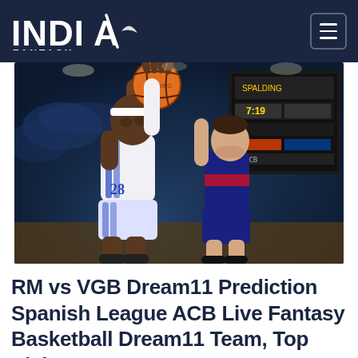INDIA FANTASY
[Figure (photo): Two basketball players competing for the ball during a Spanish ACB League game. A player in a white Real Madrid jersey with number 28 is jumping and reaching for an orange basketball, while a defender in a dark blue and red jersey contests from behind. The arena is lit with blurred crowd in the background and a scoreboard visible.]
RM vs VGB Dream11 Prediction Spanish League ACB Live Fantasy Basketball Dream11 Team, Top Picks